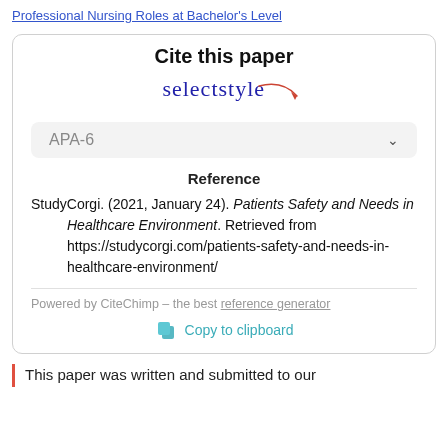Professional Nursing Roles at Bachelor's Level
Cite this paper
APA-6
Reference
StudyCorgi. (2021, January 24). Patients Safety and Needs in Healthcare Environment. Retrieved from https://studycorgi.com/patients-safety-and-needs-in-healthcare-environment/
Powered by CiteChimp - the best reference generator
Copy to clipboard
This paper was written and submitted to our